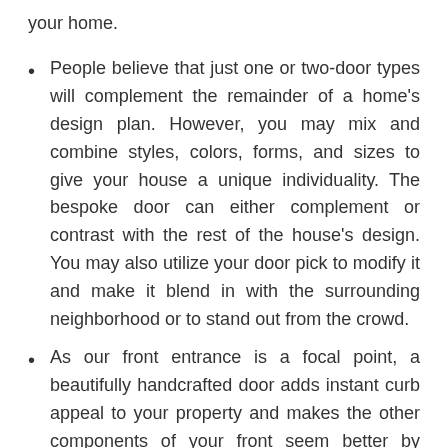your home.
People believe that just one or two-door types will complement the remainder of a home's design plan. However, you may mix and combine styles, colors, forms, and sizes to give your house a unique individuality. The bespoke door can either complement or contrast with the rest of the house's design. You may also utilize your door pick to modify it and make it blend in with the surrounding neighborhood or to stand out from the crowd.
As our front entrance is a focal point, a beautifully handcrafted door adds instant curb appeal to your property and makes the other components of your front seem better by proximity. A well-made bespoke door adds long-term value to your